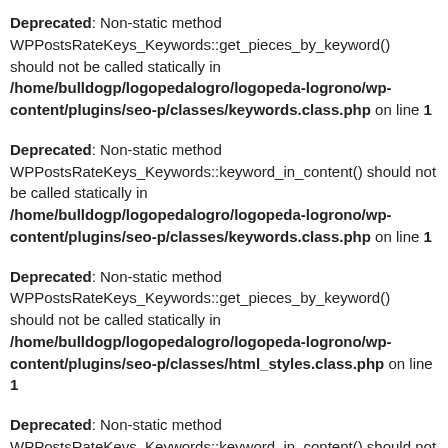Deprecated: Non-static method WPPostsRateKeys_Keywords::get_pieces_by_keyword() should not be called statically in /home/bulldogp/logopedalogro/logopeda-logrono/wp-content/plugins/seo-p/classes/keywords.class.php on line 1
Deprecated: Non-static method WPPostsRateKeys_Keywords::keyword_in_content() should not be called statically in /home/bulldogp/logopedalogro/logopeda-logrono/wp-content/plugins/seo-p/classes/keywords.class.php on line 1
Deprecated: Non-static method WPPostsRateKeys_Keywords::get_pieces_by_keyword() should not be called statically in /home/bulldogp/logopedalogro/logopeda-logrono/wp-content/plugins/seo-p/classes/html_styles.class.php on line 1
Deprecated: Non-static method WPPostsRateKeys_Keywords::keyword_in_content() should not be called statically in /home/bulldogp/logopedalogro/logopeda-